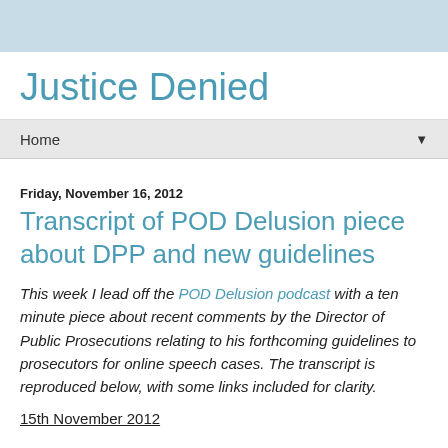Justice Denied
Transcript of POD Delusion piece about DPP and new guidelines
Friday, November 16, 2012
This week I lead off the POD Delusion podcast with a ten minute piece about recent comments by the Director of Public Prosecutions relating to his forthcoming guidelines to prosecutors for online speech cases. The transcript is reproduced below, with some links included for clarity.
15th November 2012
I've never been a fan of the current Director of Public Prosecutions, but something I read Tuesday had me shaking